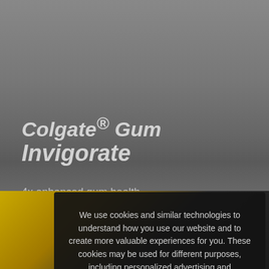[Figure (screenshot): Colgate website screenshot showing Colgate Gum Invigorate product page with dark/grey background, product title text, view products button, and yellow/dark product imagery at bottom. A cookie consent overlay modal is displayed over the page.]
Colgate® Gum Invigorate
4x enhanced gum health
View Products
We use cookies and similar technologies to understand how you use our website and to create more valuable experiences for you. These cookies may be used for different purposes, including personalized advertising and measuring site usage. To learn more please see our Cookie Policy. You can change your preferences at any time through our Cookie preferences tool.
Accept